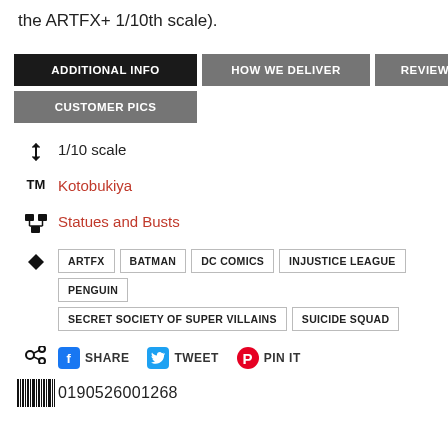the ARTFX+ 1/10th scale).
ADDITIONAL INFO
HOW WE DELIVER
REVIEWS
CUSTOMER PICS
1/10 scale
Kotobukiya
Statues and Busts
ARTFX  BATMAN  DC COMICS  INJUSTICE LEAGUE  PENGUIN  SECRET SOCIETY OF SUPER VILLAINS  SUICIDE SQUAD
SHARE  TWEET  PIN IT
0190526001268